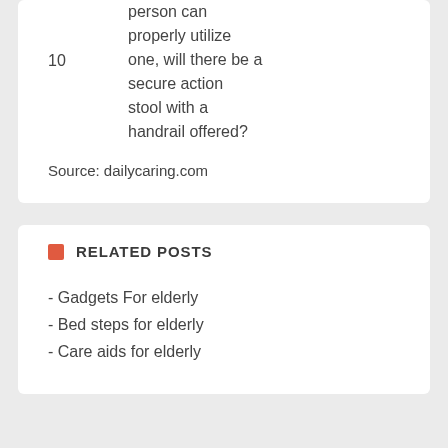10  person can properly utilize one, will there be a secure action stool with a handrail offered?
Source: dailycaring.com
RELATED POSTS
- Gadgets For elderly
- Bed steps for elderly
- Care aids for elderly